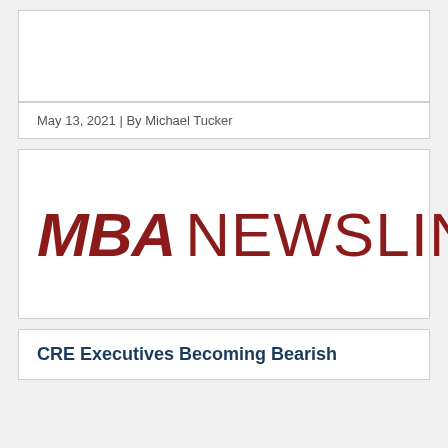[Figure (other): White image placeholder box at top of page]
May 13, 2021 | By Michael Tucker
[Figure (logo): MBA Newslink logo in dark red/crimson italic and regular weight text]
CRE Executives Becoming Bearish